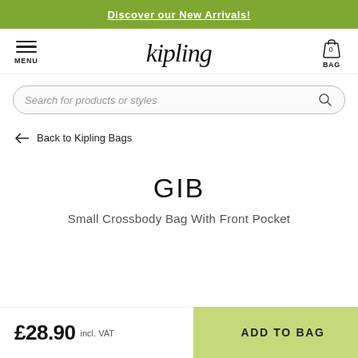Discover our New Arrivals!
[Figure (logo): Kipling brand logo in italic serif font, with hamburger menu icon on left and shopping bag icon on right]
Search for products or styles
← Back to Kipling Bags
GIB
Small Crossbody Bag With Front Pocket
£28.90 incl. VAT
ADD TO BAG